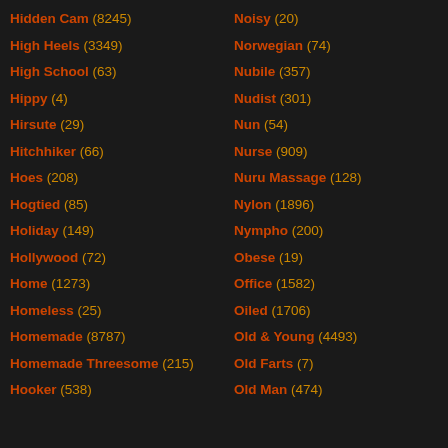Hidden Cam (8245)
High Heels (3349)
High School (63)
Hippy (4)
Hirsute (29)
Hitchhiker (66)
Hoes (208)
Hogtied (85)
Holiday (149)
Hollywood (72)
Home (1273)
Homeless (25)
Homemade (8787)
Homemade Threesome (215)
Hooker (538)
Noisy (20)
Norwegian (74)
Nubile (357)
Nudist (301)
Nun (54)
Nurse (909)
Nuru Massage (128)
Nylon (1896)
Nympho (200)
Obese (19)
Office (1582)
Oiled (1706)
Old & Young (4493)
Old Farts (7)
Old Man (474)